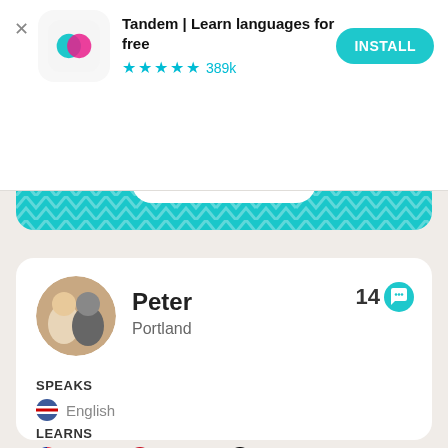[Figure (screenshot): App store ad banner for Tandem - Learn languages for free with star rating 389k reviews and INSTALL button]
[Figure (screenshot): Teal promo banner with text 'German speakers in Portland' and 'Get the app' button with chevron pattern]
[Figure (screenshot): User profile card for Peter from Portland showing profile photo, message count 14, SPEAKS English, LEARNS French Spanish German]